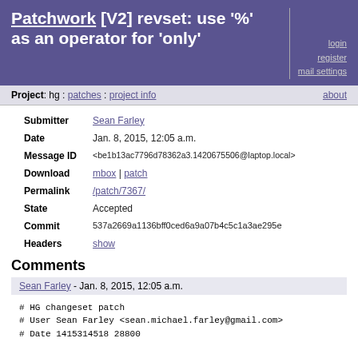Patchwork [V2] revset: use '%' as an operator for 'only'
login register mail settings
Project: hg : patches : project info    about
| Field | Value |
| --- | --- |
| Submitter | Sean Farley |
| Date | Jan. 8, 2015, 12:05 a.m. |
| Message ID | <be1b13ac7796d78362a3.1420675506@laptop.local> |
| Download | mbox | patch |
| Permalink | /patch/7367/ |
| State | Accepted |
| Commit | 537a2669a1136bff0ced6a9a07b4c5c1a3ae295e |
| Headers | show |
Comments
Sean Farley - Jan. 8, 2015, 12:05 a.m.
# HG changeset patch
# User Sean Farley <sean.michael.farley@gmail.com>
# Date 1415314518 28800